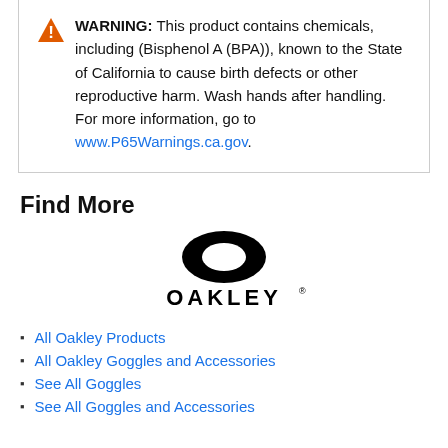WARNING: This product contains chemicals, including (Bisphenol A (BPA)), known to the State of California to cause birth defects or other reproductive harm. Wash hands after handling. For more information, go to www.P65Warnings.ca.gov.
Find More
[Figure (logo): Oakley logo — elliptical lens icon above the word OAKLEY in bold stylized uppercase letters]
All Oakley Products
All Oakley Goggles and Accessories
See All Goggles
See All Goggles and Accessories